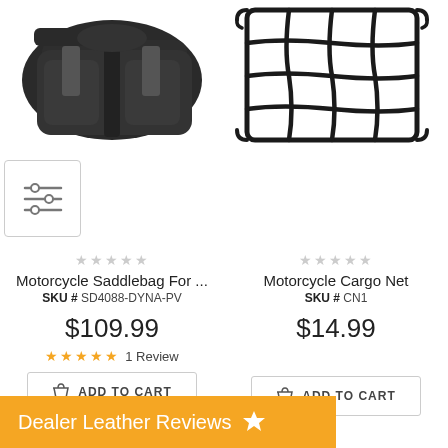[Figure (photo): Motorcycle saddlebag product photo — black leather bag with buckles]
[Figure (photo): Motorcycle cargo net product photo — black elastic net with hooks]
[Figure (other): Filter/sort icon button]
Motorcycle Saddlebag For ...
SKU # SD4088-DYNA-PV
$109.99
1 Review
ADD TO CART
Motorcycle Cargo Net
SKU # CN1
$14.99
ADD TO CART
Dealer Leather Reviews ★